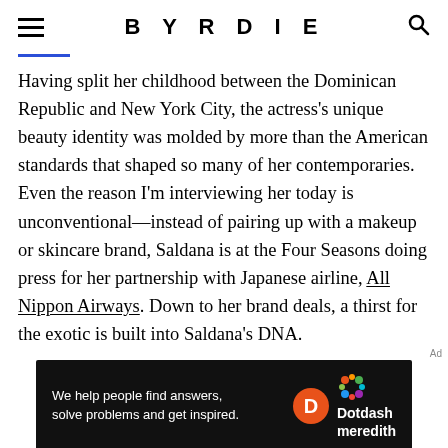BYRDIE
Having split her childhood between the Dominican Republic and New York City, the actress’s unique beauty identity was molded by more than the American standards that shaped so many of her contemporaries. Even the reason I’m interviewing her today is unconventional—instead of pairing up with a makeup or skincare brand, Saldana is at the Four Seasons doing press for her partnership with Japanese airline, All Nippon Airways. Down to her brand deals, a thirst for the exotic is built into Saldana’s DNA.
[Figure (other): Dotdash Meredith advertisement banner: black background with text 'We help people find answers, solve problems and get inspired.' alongside the Dotdash Meredith logo with orange D circle and colorful dots.]